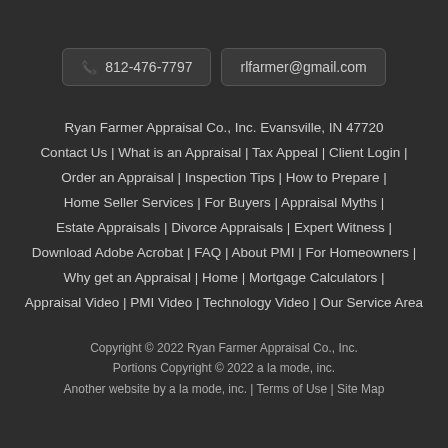812-476-7797 | rlfarmer@gmail.com
Ryan Farmer Appraisal Co., Inc. Evansville, IN 47720 | Contact Us | What is an Appraisal | Tax Appeal | Client Login | Order an Appraisal | Inspection Tips | How to Prepare | Home Seller Services | For Buyers | Appraisal Myths | Estate Appraisals | Divorce Appraisals | Expert Witness | Download Adobe Acrobat | FAQ | About PMI | For Homeowners | Why get an Appraisal | Home | Mortgage Calculators | Appraisal Video | PMI Video | Technology Video | Our Service Area
Copyright © 2022 Ryan Farmer Appraisal Co., Inc. Portions Copyright © 2022 a la mode, inc. Another website by a la mode, inc. | Terms of Use | Site Map